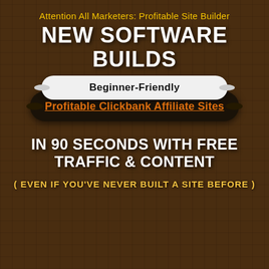Attention All Marketers: Profitable Site Builder
NEW SOFTWARE BUILDS
Beginner-Friendly
Profitable Clickbank Affiliate Sites
IN 90 SECONDS WITH FREE TRAFFIC & CONTENT
( EVEN IF YOU'VE NEVER BUILT A SITE BEFORE )